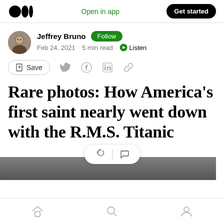Medium app header — Open in app | Get started
Jeffrey Bruno · Follow · Feb 24, 2021 · 5 min read · Listen
[Figure (other): Save and social sharing action buttons row]
Rare photos: How America's first saint nearly went down with the R.M.S. Titanic
[Figure (other): Partial grayscale photo of a person, bottom portion of article image]
Mobile bottom navigation bar with Home, Search, and Profile icons